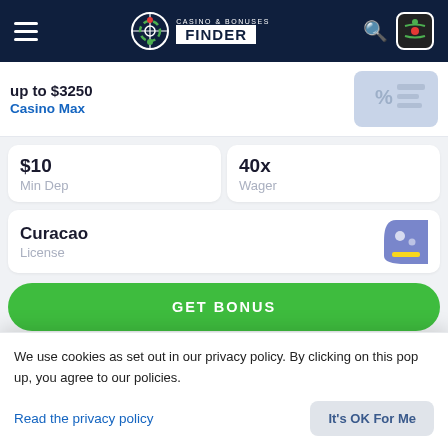[Figure (screenshot): Casino & Bonuses Finder website header with logo, hamburger menu, search icon, and flag icon on dark navy background]
up to $3250
Casino Max
$10
Min Dep
40x
Wager
Curacao
License
GET BONUS
REVIEW
Bonus Code
We use cookies as set out in our privacy policy. By clicking on this pop up, you agree to our policies.
Read the privacy policy
It's OK For Me